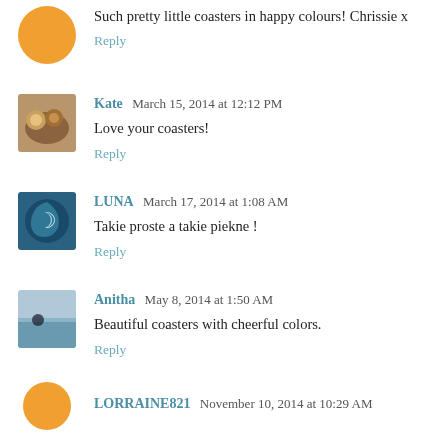Such pretty little coasters in happy colours! Chrissie x
Reply
Kate  March 15, 2014 at 12:12 PM
Love your coasters!
Reply
LUNA  March 17, 2014 at 1:08 AM
Takie proste a takie piekne !
Reply
Anitha  May 8, 2014 at 1:50 AM
Beautiful coasters with cheerful colors.
Reply
LORRAINE821  November 10, 2014 at 10:29 AM